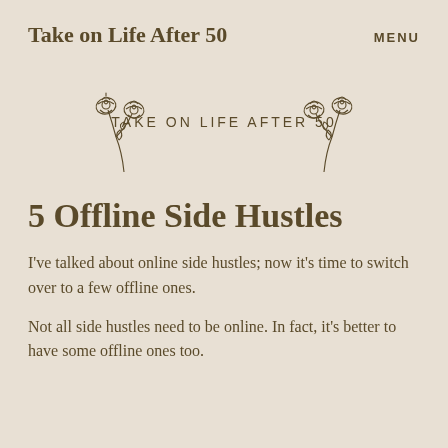Take on Life After 50    MENU
[Figure (logo): Logo with two line-art roses flanking the text 'TAKE ON LIFE AFTER 50']
5 Offline Side Hustles
I've talked about online side hustles; now it's time to switch over to a few offline ones.
Not all side hustles need to be online. In fact, it's better to have some offline ones too.